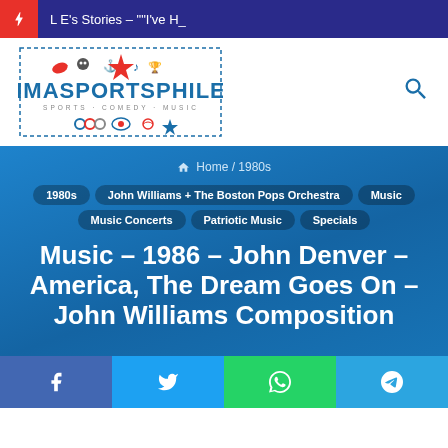L E's Stories – ""I've H_
[Figure (logo): IMASPORTSPHILE logo with sports and music icons]
Home / 1980s
1980s
John Williams + The Boston Pops Orchestra
Music
Music Concerts
Patriotic Music
Specials
Music – 1986 – John Denver – America, The Dream Goes On – John Williams Composition